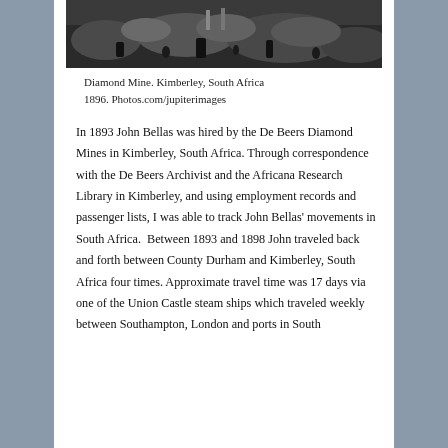[Figure (photo): Black and white historical photograph of Diamond Mine, Kimberley, South Africa, 1896. Shows rocky mine terrain with workers.]
Diamond Mine. Kimberley, South Africa 1896. Photos.com/jupiterimages
In 1893 John Bellas was hired by the De Beers Diamond Mines in Kimberley, South Africa. Through correspondence with the De Beers Archivist and the Africana Research Library in Kimberley, and using employment records and passenger lists, I was able to track John Bellas' movements in South Africa. Between 1893 and 1898 John traveled back and forth between County Durham and Kimberley, South Africa four times. Approximate travel time was 17 days via one of the Union Castle steam ships which traveled weekly between Southampton, London and ports in South